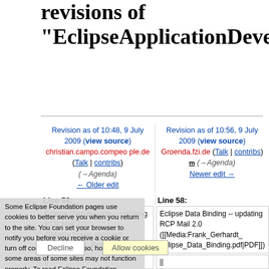revisions of "EclipseApplicationDevel
| Revision as of 10:48, 9 July 2009 | Revision as of 10:56, 9 July 2009 |
| --- | --- |
| christian.campo.compeo ple.de (Talk | contribs) (→Agenda)
← Older edit | Groenda.fzi.de (Talk | contribs)
m (→Agenda)
Newer edit → |
| Line 58: | Line 58: |
| Eclipse Data Binding -- updating RCP Mail 2.0 ([[Media:Frank_Gerhardt_ Eclipse_Data_Binding.pdf|PDF]]) | Eclipse Data Binding -- updating RCP Mail 2.0 ([[Media:Frank_Gerhardt_ Eclipse_Data_Binding.pdf|PDF]]) |
| || | || |
| [mailto:sbecker@fzi.de | Dr. Steffen Becker, |
Some Eclipse Foundation pages use cookies to better serve you when you return to the site. You can set your browser to notify you before you receive a cookie or turn off cookies. If you do so, however, some areas of some sites may not function properly. To read Eclipse Foundation Privacy Policy click here.
Decline  Allow cookies